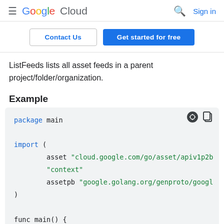Google Cloud  Sign in
Contact Us  Get started for free
ListFeeds lists all asset feeds in a parent project/folder/organization.
Example
package main

import (
    asset "cloud.google.com/go/asset/apiv1p2b
    "context"
    assetpb "google.golang.org/genproto/googl
)

func main() {
    ctx := context.Background()